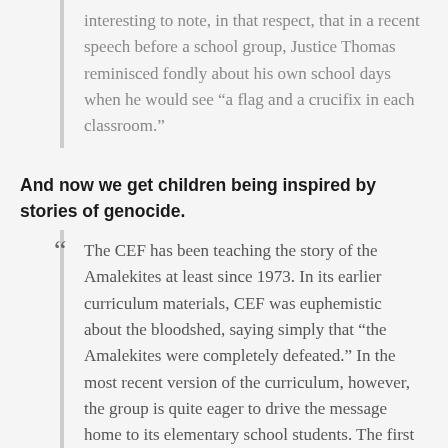interesting to note, in that respect, that in a recent speech before a school group, Justice Thomas reminisced fondly about his own school days when he would see “a flag and a crucifix in each classroom.”
And now we get children being inspired by stories of genocide.
The CEF has been teaching the story of the Amalekites at least since 1973. In its earlier curriculum materials, CEF was euphemistic about the bloodshed, saying simply that “the Amalekites were completely defeated.” In the most recent version of the curriculum, however, the group is quite eager to drive the message home to its elementary school students. The first thing the curriculum makes clear is that if God gives instructions to kill a group of people, you must kill every last one: